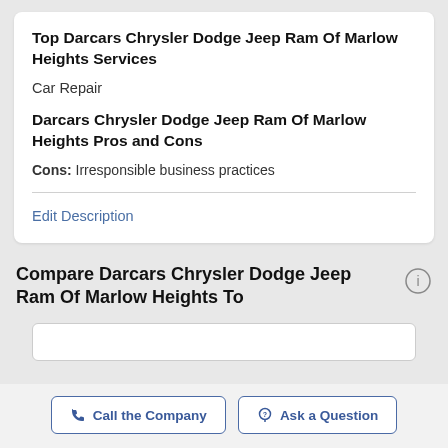Top Darcars Chrysler Dodge Jeep Ram Of Marlow Heights Services
Car Repair
Darcars Chrysler Dodge Jeep Ram Of Marlow Heights Pros and Cons
Cons: Irresponsible business practices
Edit Description
Compare Darcars Chrysler Dodge Jeep Ram Of Marlow Heights To
Call the Company
Ask a Question